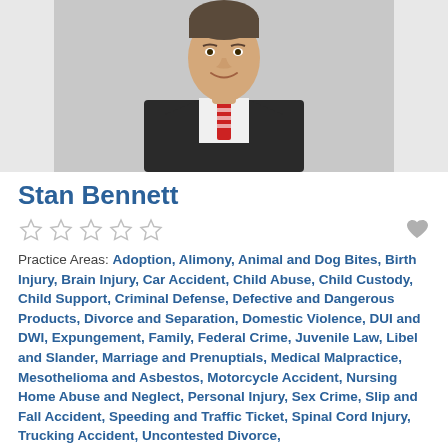[Figure (photo): Headshot of Stan Bennett, a man in a dark pinstripe suit with a red and white striped tie, smiling, against a light background.]
Stan Bennett
★★★★★ (5 empty stars) and a heart/favorite icon
Practice Areas: Adoption, Alimony, Animal and Dog Bites, Birth Injury, Brain Injury, Car Accident, Child Abuse, Child Custody, Child Support, Criminal Defense, Defective and Dangerous Products, Divorce and Separation, Domestic Violence, DUI and DWI, Expungement, Family, Federal Crime, Juvenile Law, Libel and Slander, Marriage and Prenuptials, Medical Malpractice, Mesothelioma and Asbestos, Motorcycle Accident, Nursing Home Abuse and Neglect, Personal Injury, Sex Crime, Slip and Fall Accident, Speeding and Traffic Ticket, Spinal Cord Injury, Trucking Accident, Uncontested Divorce,